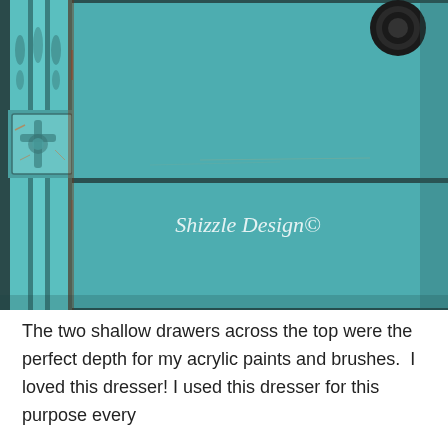[Figure (photo): Close-up photograph of a teal/turquoise distressed painted dresser with ornate carved wooden details on the left column and dark round drawer pulls. A watermark reads 'Shizzle Design©' in white italic text on one of the drawers.]
The two shallow drawers across the top were the perfect depth for my acrylic paints and brushes.  I loved this dresser! I used this dresser for this purpose every